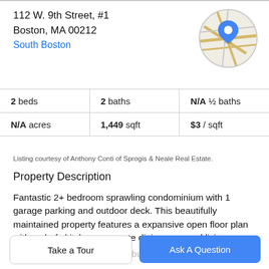112 W. 9th Street, #1
Boston, MA 00212
South Boston
[Figure (map): Circular map thumbnail showing street map with a blue location pin marker]
| 2 beds | 2 baths | N/A ½ baths |
| N/A acres | 1,449 sqft | $3 / sqft |
Listing courtesy of Anthony Conti of Sprogis & Neale Real Estate.
Property Description
Fantastic 2+ bedroom sprawling condominium with 1 garage parking and outdoor deck. This beautifully maintained property features a expansive open floor plan with a chefs kitchen, separate dining area and living area with a gas fireplace and an abundance of windows. There
Take a Tour
Ask A Question